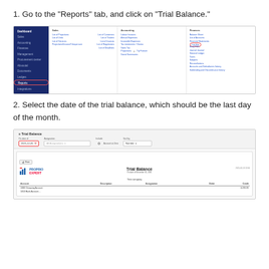1. Go to the “Reports” tab, and click on “Trial Balance.”
[Figure (screenshot): Screenshot of accounting software navigation menu showing Reports tab selected with dropdown menu columns: Sales, Accounting, Finances. Trial Balance option is circled in red under Finances column.]
2. Select the date of the trial balance, which should be the last day of the month.
[Figure (screenshot): Screenshot of Trial Balance report interface showing date filter set to 2021-12-31 (circled in red), Assignation dropdown, Include Account at Zero checkbox, Sort by Number. Below is a preview of the Trial Balance report with Proprio Expert logo, showing Test company, with columns for Account, Description, Assignation, Debit, Credit.]